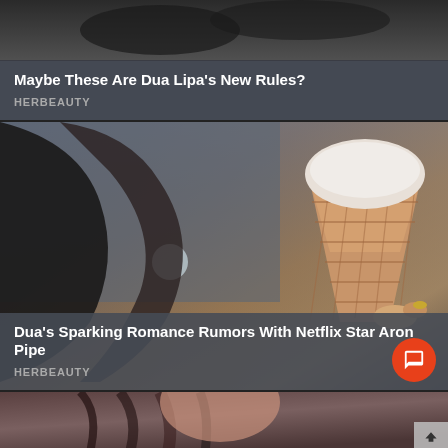[Figure (photo): Top card: dark background photo (shoes/floor area), partially cropped at top]
Maybe These Are Dua Lipa's New Rules?
HERBEAUTY
[Figure (photo): Middle card: woman (Dua Lipa) holding an ice cream waffle cone, looking upward, selfie-style photo]
Dua's Sparking Romance Rumors With Netflix Star Aron Pipe
HERBEAUTY
[Figure (photo): Bottom card: partially visible photo of a woman with brown/dark wavy hair, cropped at bottom of page]